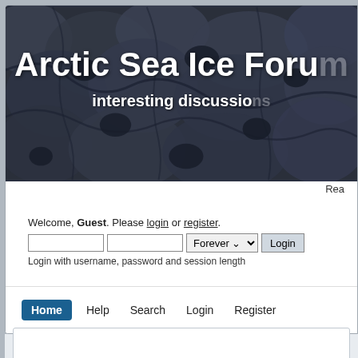[Figure (illustration): Arctic Sea Ice Forum website banner with dark blue-grey sea ice texture background]
Arctic Sea Ice Forum
interesting discussions
Rea
Welcome, Guest. Please login or register.
Login with username, password and session length
Home  Help  Search  Login  Register